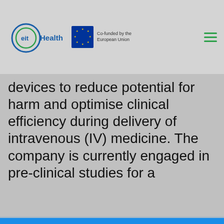[Figure (logo): EIT Health logo with circular icon and text 'eit Health', alongside EU co-funded logo and hamburger menu icon]
devices to reduce potential for harm and optimise clinical efficiency during delivery of intravenous (IV) medicine. The company is currently engaged in pre-clinical studies for a
Your choice regarding cookies on this site
We use cookies to optimise site functionality and give you the best possible experience.
I Accept Cookies
I Do Not Accept Cookies
Settings